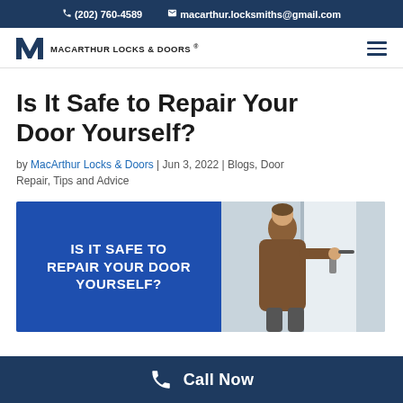(202) 760-4589   macarthur.locksmiths@gmail.com
[Figure (logo): MacArthur Locks & Doors logo with M icon and company name]
Is It Safe to Repair Your Door Yourself?
by MacArthur Locks & Doors | Jun 3, 2022 | Blogs, Door Repair, Tips and Advice
[Figure (illustration): Featured image split into two panels: left blue panel with bold white text 'IS IT SAFE TO REPAIR YOUR DOOR YOURSELF?' and right panel showing a person repairing a door lock]
Call Now